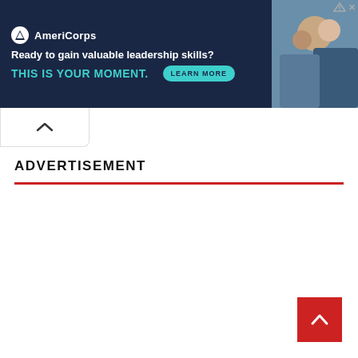[Figure (screenshot): AmeriCorps banner advertisement with dark navy background. Logo with white circle and AmeriCorps text. Tagline: Ready to gain valuable leadership skills? THIS IS YOUR MOMENT. with a teal LEARN MORE button. Photo of people on the right side.]
ADVERTISEMENT
[Figure (other): Red horizontal divider line below ADVERTISEMENT label]
[Figure (other): Red back-to-top arrow button in bottom right corner]